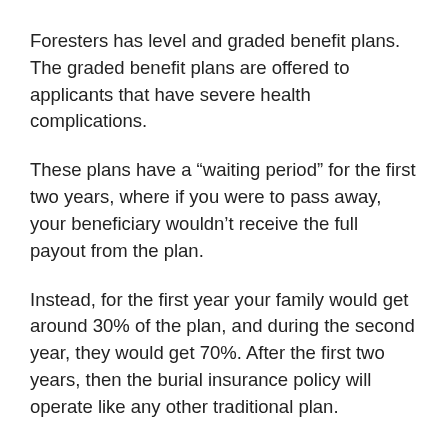Foresters has level and graded benefit plans. The graded benefit plans are offered to applicants that have severe health complications.
These plans have a “waiting period” for the first two years, where if you were to pass away, your beneficiary wouldn’t receive the full payout from the plan.
Instead, for the first year your family would get around 30% of the plan, and during the second year, they would get 70%. After the first two years, then the burial insurance policy will operate like any other traditional plan.
Foresters has plans for $2,000 all the way up to $35,000 depending on your age. They also have accident death and accelerated living riders that you can attach to your policy to get additional coverage.
If you want to get more than just a simple burial insurance